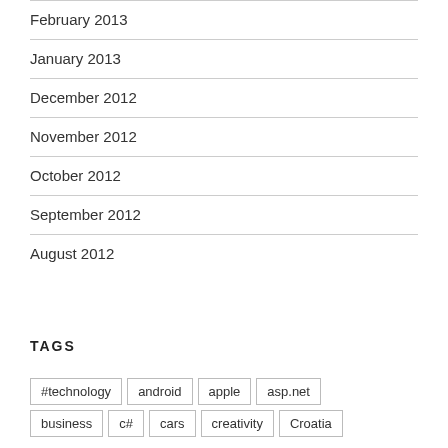February 2013
January 2013
December 2012
November 2012
October 2012
September 2012
August 2012
TAGS
#technology  android  apple  asp.net  business  c#  cars  creativity  Croatia